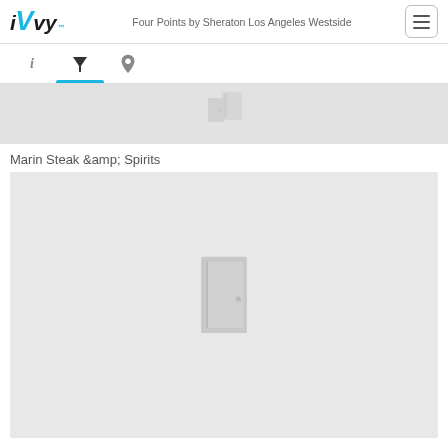iVvy — Four Points by Sheraton Los Angeles Westside
[Figure (screenshot): Navigation tab bar with info (i), filter (martini glass icon), and location (pin) icons; filter tab is active with blue underline]
[Figure (photo): Partially visible grey placeholder image at top]
Marin Steak &amp; Spirits
[Figure (photo): Grey placeholder image with a door/venue icon in the center]